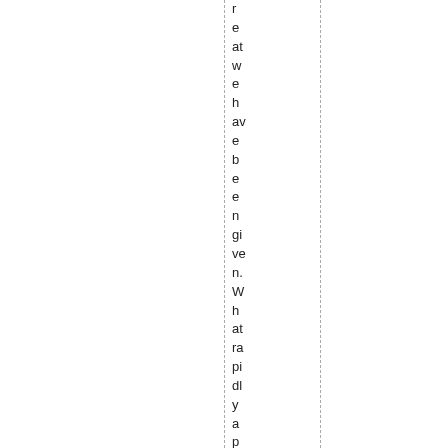treatwe have been given. What rapidly approach eth